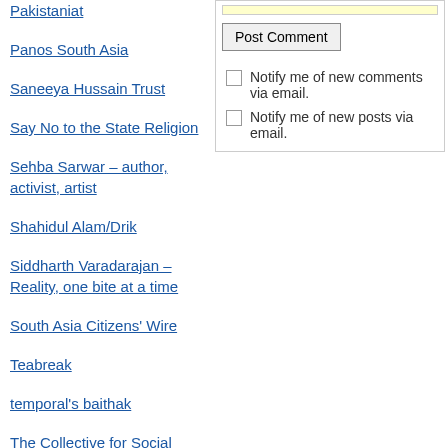Pakistaniat
Panos South Asia
Saneeya Hussain Trust
Say No to the State Religion
Sehba Sarwar – author, activist, artist
Shahidul Alam/Drik
Siddharth Varadarajan – Reality, one bite at a time
South Asia Citizens' Wire
Teabreak
temporal's baithak
The Collective for Social Science Research
The Hoot
The life and times of two Indians in Pakistan
Truthout